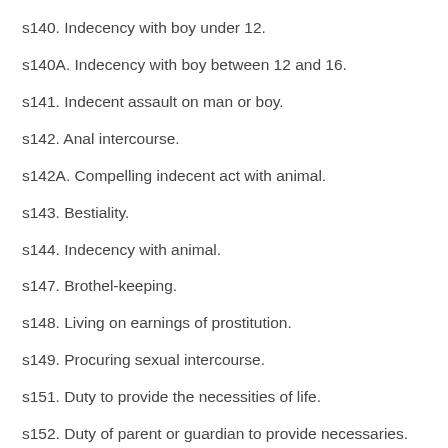s140. Indecency with boy under 12.
s140A. Indecency with boy between 12 and 16.
s141. Indecent assault on man or boy.
s142. Anal intercourse.
s142A. Compelling indecent act with animal.
s143. Bestiality.
s144. Indecency with animal.
s147. Brothel-keeping.
s148. Living on earnings of prostitution.
s149. Procuring sexual intercourse.
s151. Duty to provide the necessities of life.
s152. Duty of parent or guardian to provide necessaries.
s153. Duty of employers to provide necessaries.